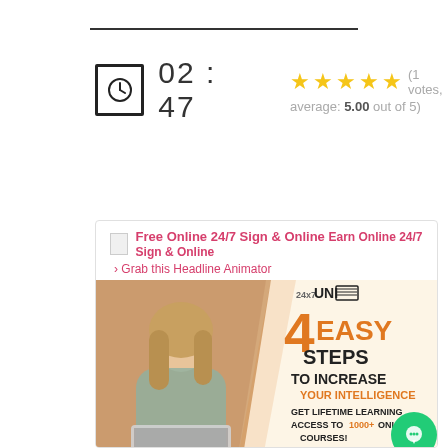[Figure (other): Clock icon with timer showing 02:47 and 5-star rating (1 votes, average: 5.00 out of 5)]
[Figure (infographic): Advertisement banner for 24x7 UNI online courses: '4 Easy Steps To Increase Your Intelligence - Get Lifetime Learning Access to 1000+ Online Courses!' with woman studying on laptop]
Free Online 24/7 Sign & Online
› Grab this Headline Animator